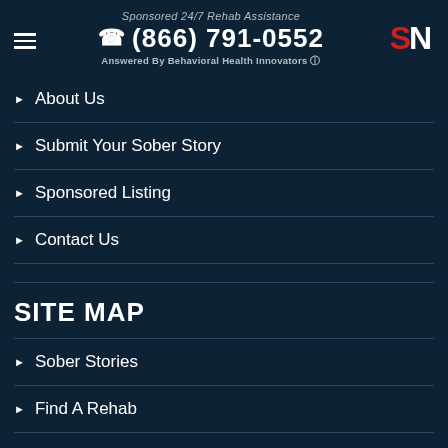Sponsored 24/7 Rehab Assistance | (866) 791-0552 | Answered By Behavioral Health Innovators
About Us
Submit Your Sober Story
Sponsored Listing
Contact Us
SITE MAP
Sober Stories
Find A Rehab
Video Content